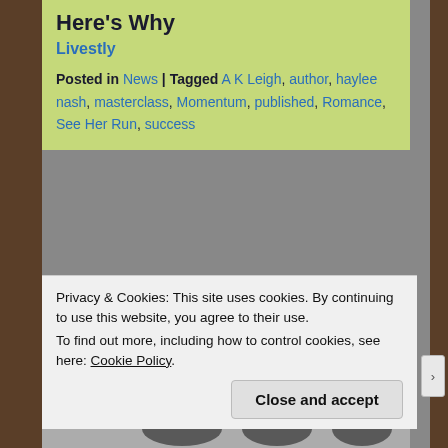Here's Why
Livestly
Posted in News | Tagged A K Leigh, author, haylee nash, masterclass, Momentum, published, Romance, See Her Run, success
Get Published.
Posted on 12/03/2015 by mouse
[Figure (photo): Partial greyscale image at bottom of page, partially obscured by cookie banner]
Privacy & Cookies: This site uses cookies. By continuing to use this website, you agree to their use.
To find out more, including how to control cookies, see here: Cookie Policy
Close and accept